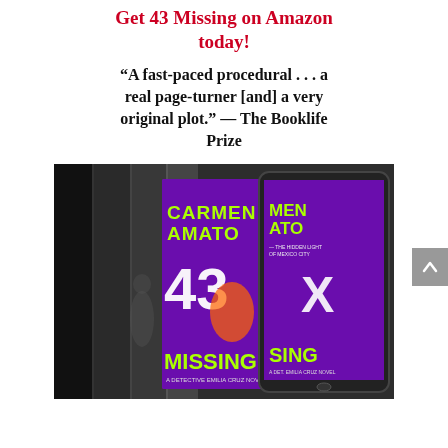Get 43 Missing on Amazon today!
“A fast-paced procedural . . . a real page-turner [and] a very original plot.” — The Booklife Prize
[Figure (photo): Book cover display showing '43 Missing' by Carmen Amato in print and tablet/e-reader format, with dark atmospheric background.]